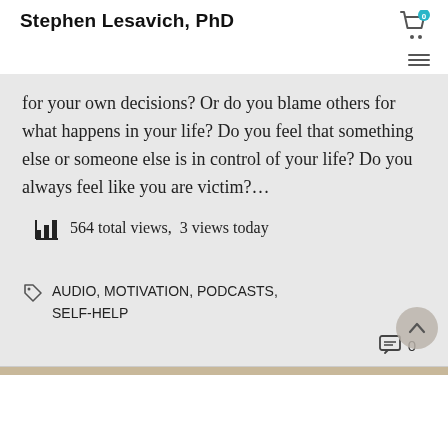Stephen Lesavich, PhD
for your own decisions? Or do you blame others for what happens in your life? Do you feel that something else or someone else is in control of your life? Do you always feel like you are victim?…
564 total views,  3 views today
AUDIO, MOTIVATION, PODCASTS, SELF-HELP
0